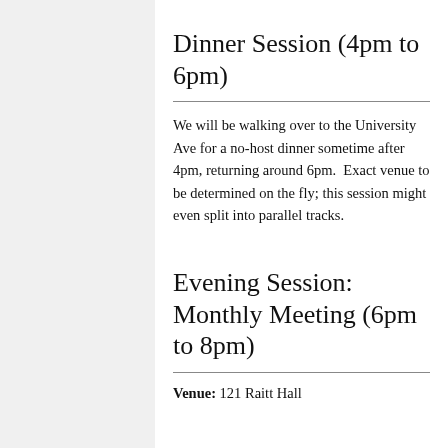Dinner Session (4pm to 6pm)
We will be walking over to the University Ave for a no-host dinner sometime after 4pm, returning around 6pm.  Exact venue to be determined on the fly; this session might even split into parallel tracks.
Evening Session: Monthly Meeting (6pm to 8pm)
Venue: 121 Raitt Hall